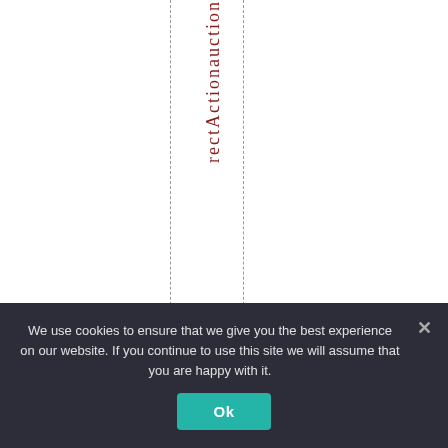rectActionauction
We use cookies to ensure that we give you the best experience on our website. If you continue to use this site we will assume that you are happy with it.
Ok